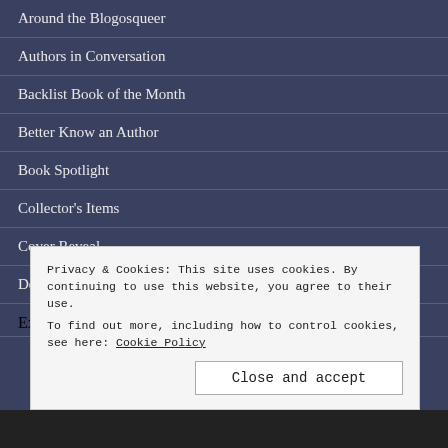Around the Blogosqueer
Authors in Conversation
Backlist Book of the Month
Better Know an Author
Book Spotlight
Collector's Items
Cover Reveal
Deal Announcements
Excerpt
Privacy & Cookies: This site uses cookies. By continuing to use this website, you agree to their use. To find out more, including how to control cookies, see here: Cookie Policy
Close and accept